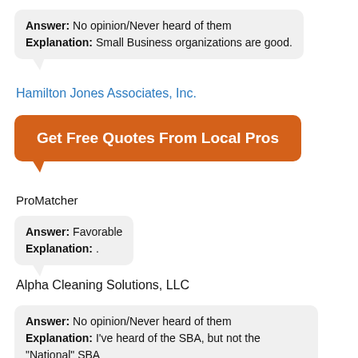Answer: No opinion/Never heard of them Explanation: Small Business organizations are good.
Hamilton Jones Associates, Inc.
[Figure (other): Orange speech bubble button with text 'Get Free Quotes From Local Pros']
ProMatcher
Answer: Favorable Explanation: .
Alpha Cleaning Solutions, LLC
Answer: No opinion/Never heard of them Explanation: I've heard of the SBA, but not the "National" SBA
Creditors Adjustment Bureau